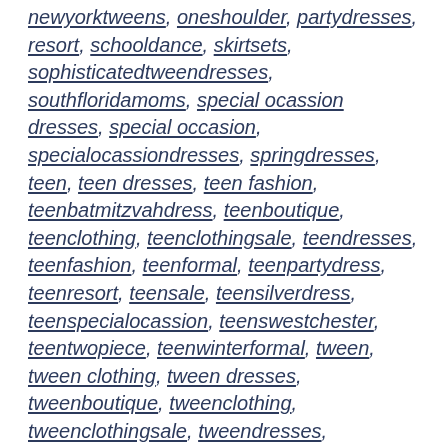newyorktweens, oneshoulder, partydresses, resort, schooldance, skirtsets, sophisticatedtweendresses, southfloridamoms, special ocassion dresses, special occasion, specialocassiondresses, springdresses, teen, teen dresses, teen fashion, teenbatmitzvahdress, teenboutique, teenclothing, teenclothingsale, teendresses, teenfashion, teenformal, teenpartydress, teenresort, teensale, teensilverdress, teenspecialocassion, teenswestchester, teentwopiece, teenwinterformal, tween, tween clothing, tween dresses, tweenboutique, tweenclothing, tweenclothingsale, tweendresses, tweenfashion, tweenformal, tweenformaldresses, tweengirlsfashion, tweengolddress, tweenhomecoming,